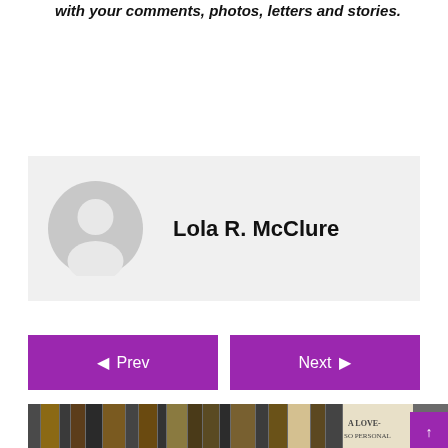with your comments, photos, letters and stories.
Lola R. McClure
Prev
Next
[Figure (photo): Row of books on a shelf with text 'A LOVE SO PERSONAL' visible on one spine, along with a scroll-to-top button in purple]